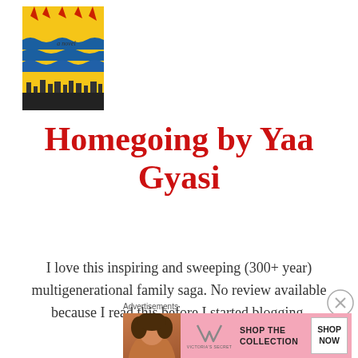[Figure (illustration): Book cover of Homegoing by Yaa Gyasi — colorful cover with waves and sun motif, text reads 'a novel']
Homegoing by Yaa Gyasi
I love this inspiring and sweeping (300+ year) multigenerational family saga. No review available because I read this before I started blogging.
Advertisements
[Figure (other): Victoria's Secret advertisement banner: 'SHOP THE COLLECTION' with SHOP NOW button and model photo]